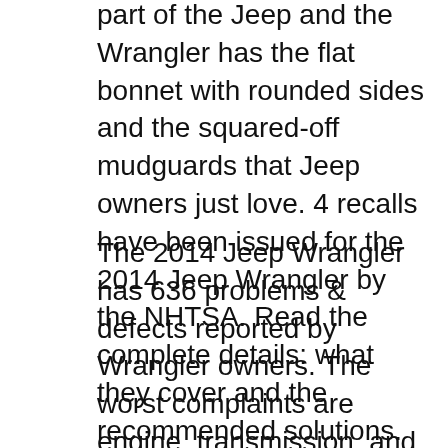part of the Jeep and the Wrangler has the flat bonnet with rounded sides and the squared-off mudguards that Jeep owners just love. 4 recalls have been issued for the 2014 Jeep Wrangler by the NHTSA. Read the complete details: what they cover and the recommended solutions.
The 2014 Jeep Wrangler has 636 problems & defects reported by Wrangler owners. The worst complaints are engine, transmission, and AC / heater problems. 2014 Wrangler Unlimited Rubicon 4dr 4x4 specs (horsepower, torque, engine size, wheelbase), MPG and pricing.